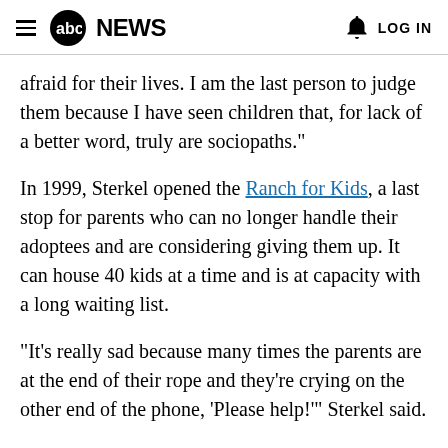abc NEWS  LOG IN
afraid for their lives. I am the last person to judge them because I have seen children that, for lack of a better word, truly are sociopaths."
In 1999, Sterkel opened the Ranch for Kids, a last stop for parents who can no longer handle their adoptees and are considering giving them up. It can house 40 kids at a time and is at capacity with a long waiting list.
"It's really sad because many times the parents are at the end of their rope and they're crying on the other end of the phone, 'Please help!'" Sterkel said.